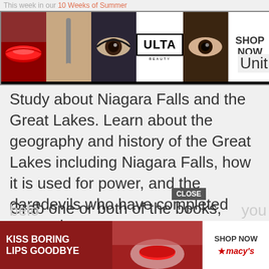This week in our 10 Weeks of Summer
[Figure (advertisement): ULTA beauty advertisement banner with makeup photos, ULTA logo, and SHOP NOW button]
Unit Study about Niagara Falls and the Great Lakes.  Learn about the geography and history of the Great Lakes including Niagara Falls, how it is used for power, and the daredevils who have completed stunts there.
Grab one or both of the books, sign-up to receive the FREE printable unit study and then explore the other resources below
[Figure (advertisement): Macy's lipstick advertisement with KISS BORING LIPS GOODBYE text, model photo, SHOP NOW and Macy's logo, with CLOSE button overlay]